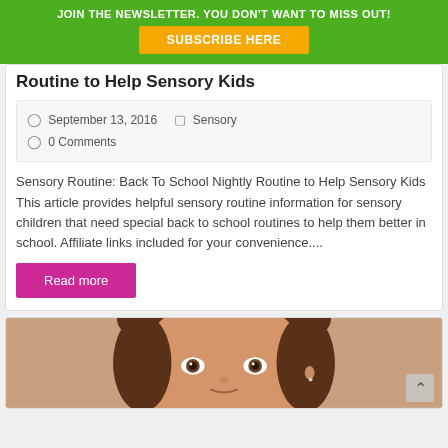JOIN THE NEWSLETTER. YOU DON'T WANT TO MISS OUT!
SUBSCRIBE HERE
Routine to Help Sensory Kids
September 13, 2016   Sensory   0 Comments
Sensory Routine: Back To School Nightly Routine to Help Sensory Kids This article provides helpful sensory routine information for sensory children that need special back to school routines to help them better in school. Affiliate links included for your convenience....
Read more
[Figure (photo): Close-up photo of a child's face with curly dark hair, looking at the camera]